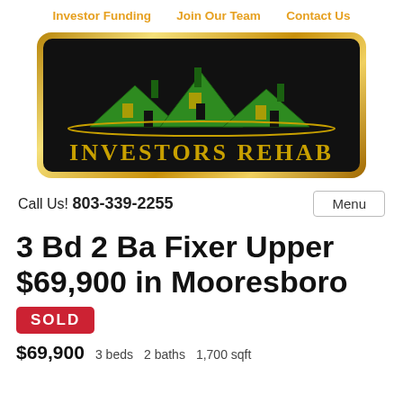Investor Funding   Join Our Team   Contact Us
[Figure (logo): Investors Rehab logo: black rounded rectangle with gold border, green roof silhouettes of three houses, gold text 'INVESTORS REHAB' at bottom]
Call Us! 803-339-2255
Menu
3 Bd 2 Ba Fixer Upper $69,900 in Mooresboro
SOLD
$69,900   3 beds   2 baths   1,700 sqft